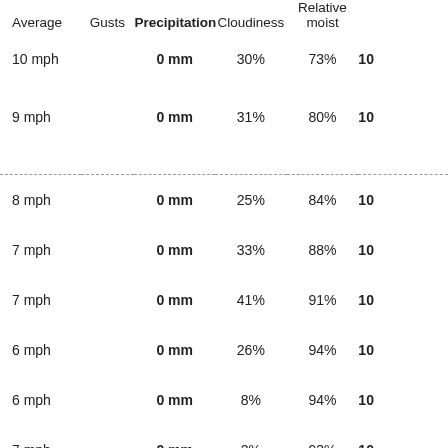| Average | Gusts | Precipitation | Cloudiness | Relative moist |  |
| --- | --- | --- | --- | --- | --- |
| 10 mph |  | 0 mm | 30% | 73% | 10 |
| 9 mph |  | 0 mm | 31% | 80% | 10 |
| 8 mph |  | 0 mm | 25% | 84% | 10 |
| 7 mph |  | 0 mm | 33% | 88% | 10 |
| 7 mph |  | 0 mm | 41% | 91% | 10 |
| 6 mph |  | 0 mm | 26% | 94% | 10 |
| 6 mph |  | 0 mm | 8% | 94% | 10 |
| 7 mph |  | 0 mm | 2% | 93% | 10 |
| 8 mph |  | 0 mm | 0 | 92% | 10 |